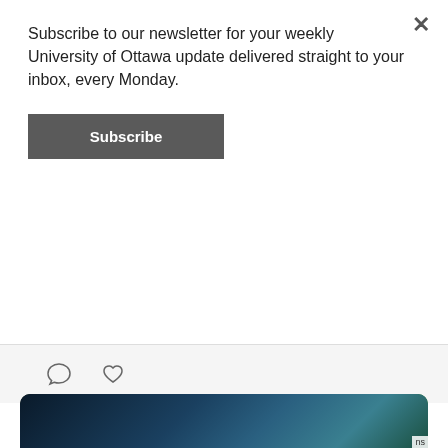Subscribe to our newsletter for your weekly University of Ottawa update delivered straight to your inbox, every Monday.
Subscribe
[Figure (screenshot): Twitter/social interaction icons: comment bubble and heart/like icon]
[Figure (screenshot): Tweet from The Fulcrum @The_Fulcrum · Jul 17 with Twitter bird logo. Text: Luke Bryan, Rage Against the Machine, and Milky Chance killed their sets heading into the final weekend of Bluesfest. There are only two days left of Ottawa's summer music festival. Link: ow.ly/47a850JXvoU. Preview image of person at concert.]